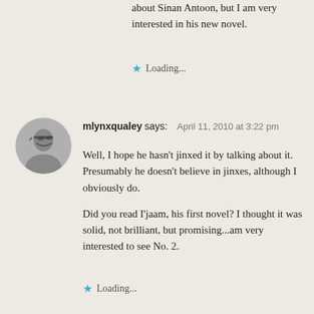about Sinan Antoon, but I am very interested in his new novel.
Loading...
mlynxqualey says: April 11, 2010 at 3:22 pm
Well, I hope he hasn't jinxed it by talking about it. Presumably he doesn't believe in jinxes, although I obviously do.
Did you read I'jaam, his first novel? I thought it was solid, not brilliant, but promising...am very interested to see No. 2.
Loading...